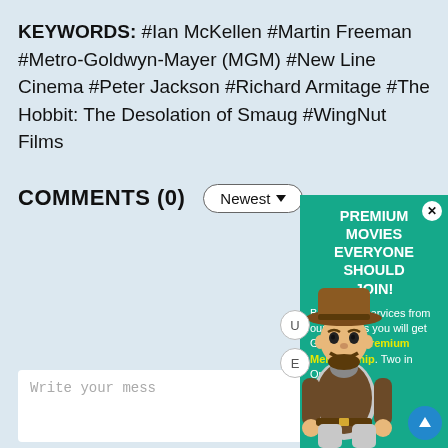KEYWORDS: #Ian McKellen #Martin Freeman #Metro-Goldwyn-Mayer (MGM) #New Line Cinema #Peter Jackson #Richard Armitage #The Hobbit: The Desolation of Smaug #WingNut Films
COMMENTS (0)
[Figure (screenshot): Newest dropdown button (pill-shaped)]
[Figure (infographic): Advertisement overlay: PREMIUM MOVIES EVERYONE SHOULD JOIN! with cowboy cartoon character and Gomovies Premium Membership text on teal background]
Write your mess